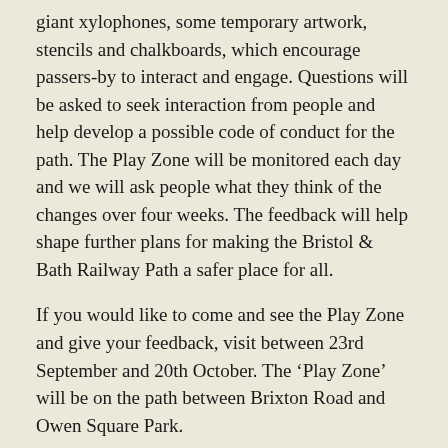giant xylophones, some temporary artwork, stencils and chalkboards, which encourage passers-by to interact and engage. Questions will be asked to seek interaction from people and help develop a possible code of conduct for the path. The Play Zone will be monitored each day and we will ask people what they think of the changes over four weeks. The feedback will help shape further plans for making the Bristol & Bath Railway Path a safer place for all.
If you would like to come and see the Play Zone and give your feedback, visit between 23rd September and 20th October. The ‘Play Zone’ will be on the path between Brixton Road and Owen Square Park.
For more information contact Celia at community@eastonandlawrencehill.org.uk / 0117 9542835